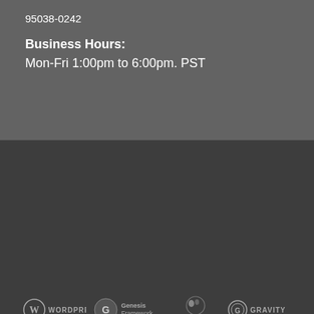95038-0242
Business Hours:
Mon-Fri 1:00pm to 6:00pm. PST
[Figure (logo): WordPress, Genesis Framework, PageBuilder, and Gravity logos in a horizontal row]
©2005-2019 Morgan Hill Web Works, Inc.™, All rights reserved.
All trademarks cited herein are the property of their respective owners.